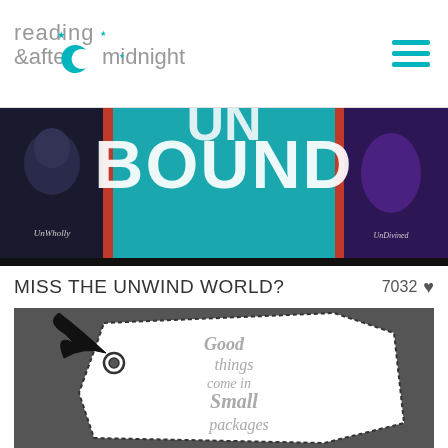reading after midnight
[Figure (photo): Banner image showing book covers including UnWholly and UnDivined with large teal text reading BOUND in the center]
MISS THE UNWIND WORLD?  7032 ♥
[Figure (photo): Black and white photo of a gift tag tied with a black ribbon bow on a dark grey background. The tag reads 'Good things come in Small packages' in decorative typography.]